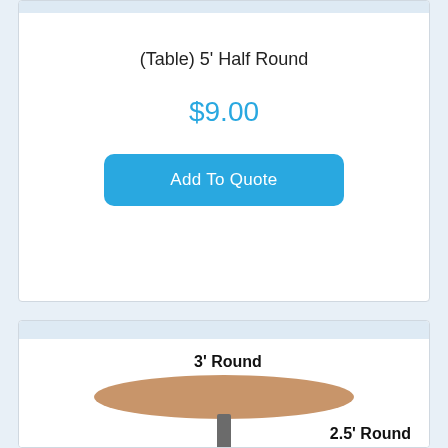(Table) 5' Half Round
$9.00
Add To Quote
[Figure (illustration): Illustration of a round pedestal table (cocktail/bar height) with label '3' Round' above and '2.5' Round' to the right]
3' Round
2.5' Round